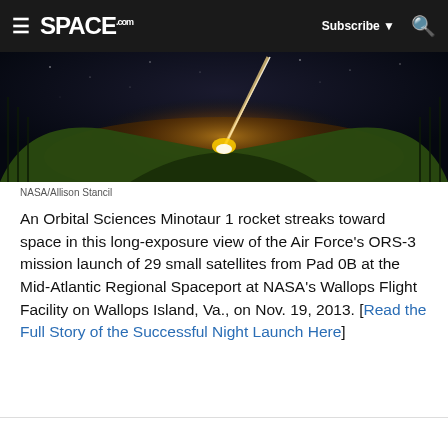SPACE.com | Subscribe | Search
[Figure (photo): Long-exposure night photo of an Orbital Sciences Minotaur 1 rocket launching, showing a bright streak of light rising from a launchpad surrounded by dark green fields under a night sky.]
NASA/Allison Stancil
An Orbital Sciences Minotaur 1 rocket streaks toward space in this long-exposure view of the Air Force's ORS-3 mission launch of 29 small satellites from Pad 0B at the Mid-Atlantic Regional Spaceport at NASA's Wallops Flight Facility on Wallops Island, Va., on Nov. 19, 2013. [Read the Full Story of the Successful Night Launch Here]